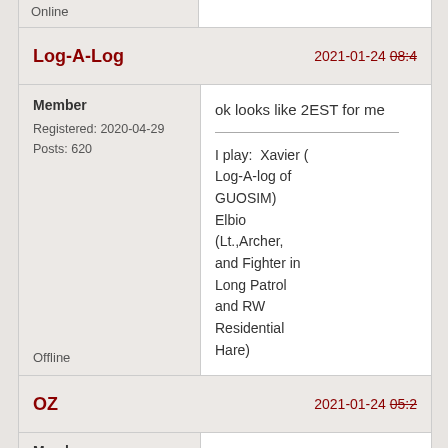Online
Log-A-Log
2021-01-24 08:4
Member
Registered: 2020-04-29
Posts: 620
ok looks like 2EST for me
I play:  Xavier (Log-A-log of GUOSIM) Elbio (Lt.,Archer, and Fighter in Long Patrol and RW Residential Hare)
Offline
OZ
2021-01-24 05:2
Member
Yes let's try to have a lot